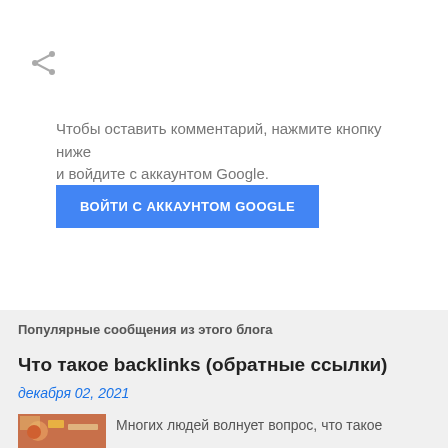[Figure (other): Share icon (less-than style arrow/share symbol) in gray]
Чтобы оставить комментарий, нажмите кнопку ниже и войдите с аккаунтом Google.
[Figure (other): Blue button: ВОЙТИ С АККАУНТОМ GOOGLE]
Популярные сообщения из этого блога
Что такое backlinks (обратные ссылки)
декабря 02, 2021
[Figure (photo): Thumbnail image for the blog post]
Многих людей волнует вопрос, что такое